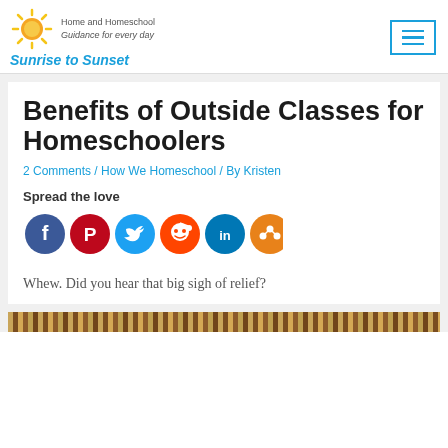Sunrise to Sunset — Home and Homeschool Guidance for every day
Benefits of Outside Classes for Homeschoolers
2 Comments / How We Homeschool / By Kristen
Spread the love
[Figure (infographic): Row of social media share icons: Facebook (dark blue), Pinterest (red), Twitter (light blue), Reddit (orange), LinkedIn (dark blue-teal), Share (orange)]
Whew. Did you hear that big sigh of relief?
[Figure (photo): Decorative striped bar at bottom of page]